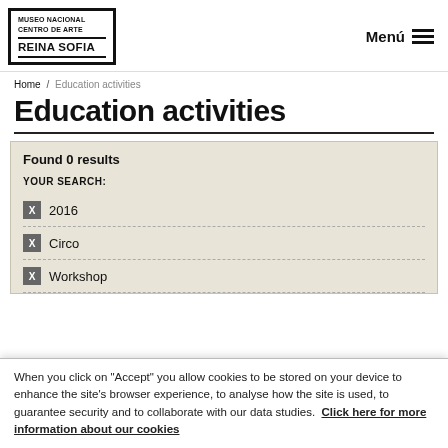[Figure (logo): Museo Nacional Centro de Arte Reina Sofia logo in bordered box]
Menú ☰
Home / Education activities
Education activities
Found 0 results
YOUR SEARCH:
✕ 2016
✕ Circo
✕ Workshop
When you click on "Accept" you allow cookies to be stored on your device to enhance the site's browser experience, to analyse how the site is used, to guarantee security and to collaborate with our data studies. Click here for more information about our cookies